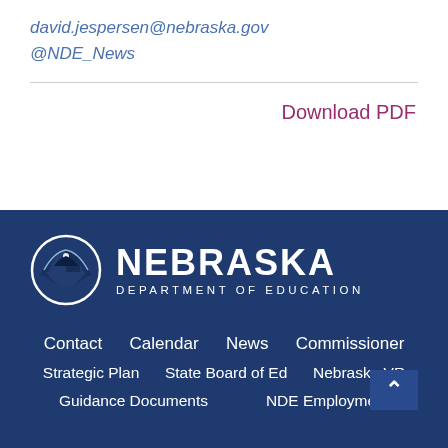david.jespersen@nebraska.gov
@NDE_News
Download PDF
[Figure (logo): Nebraska Department of Education logo with circular emblem and text]
Contact  Calendar  News  Commissioner  Strategic Plan  State Board of Ed  Nebraska VR  Guidance Documents  NDE Employees